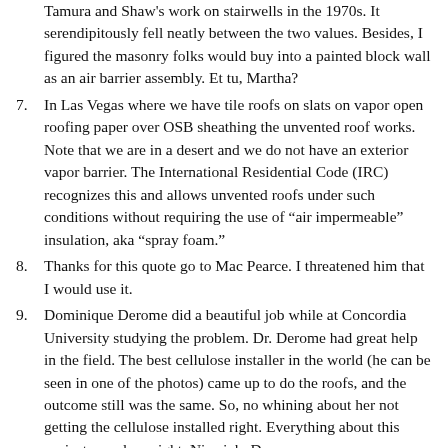Tamura and Shaw's work on stairwells in the 1970s. It serendipitously fell neatly between the two values. Besides, I figured the masonry folks would buy into a painted block wall as an air barrier assembly. Et tu, Martha?
7. In Las Vegas where we have tile roofs on slats on vapor open roofing paper over OSB sheathing the unvented roof works. Note that we are in a desert and we do not have an exterior vapor barrier. The International Residential Code (IRC) recognizes this and allows unvented roofs under such conditions without requiring the use of “air impermeable” insulation, aka “spray foam.”
8. Thanks for this quote go to Mac Pearce. I threatened him that I would use it.
9. Dominique Derome did a beautiful job while at Concordia University studying the problem. Dr. Derome had great help in the field. The best cellulose installer in the world (he can be seen in one of the photos) came up to do the roofs, and the outcome still was the same. So, no whining about her not getting the cellulose installed right. Everything about this project was done right. Nice job, Dr.